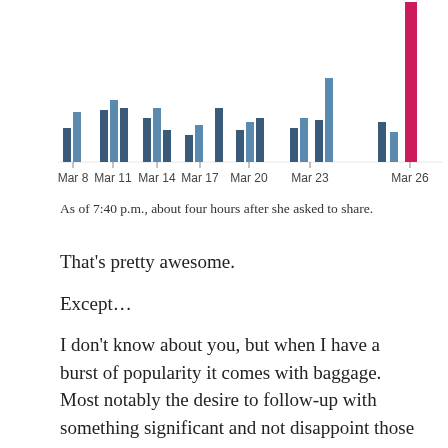[Figure (bar-chart): Daily blog views]
As of 7:40 p.m., about four hours after she asked to share.
That's pretty awesome.
Except…
I don't know about you, but when I have a burst of popularity it comes with baggage. Most notably the desire to follow-up with something significant and not disappoint those newcomers.
I've been stressing over what to write for a while now.